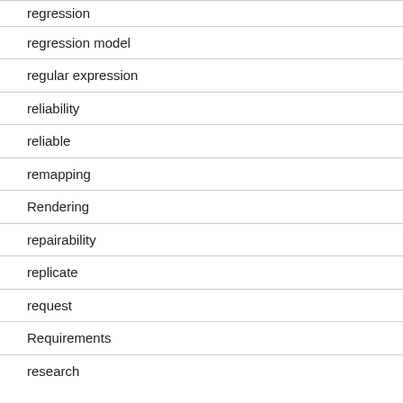regression
regression model
regular expression
reliability
reliable
remapping
Rendering
repairability
replicate
request
Requirements
research